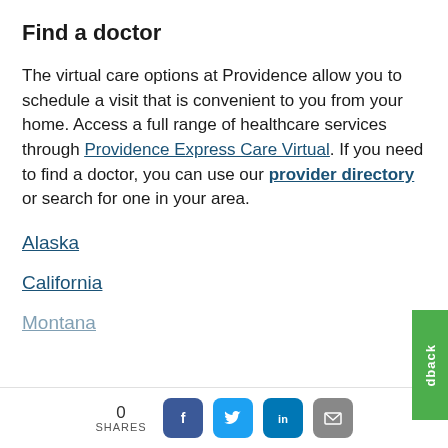Find a doctor
The virtual care options at Providence allow you to schedule a visit that is convenient to you from your home. Access a full range of healthcare services through Providence Express Care Virtual. If you need to find a doctor, you can use our provider directory or search for one in your area.
Alaska
California
Montana
0 SHARES